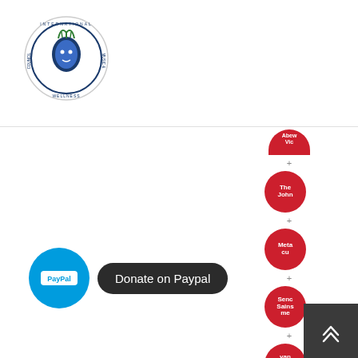[Figure (logo): International Music & Wellness Council circular logo with stylized head/brain icon, blue and green colors on white background]
[Figure (illustration): Vertical column of circular red badge icons with white text, separated by '+' plus signs, showing partially visible organization/sponsor logos]
[Figure (illustration): PayPal donate button: blue circular PayPal icon on left, dark pill-shaped button with 'Donate on Paypal' text]
[Figure (illustration): Dark grey scroll-to-top button with upward chevron arrows, positioned in bottom-right corner]